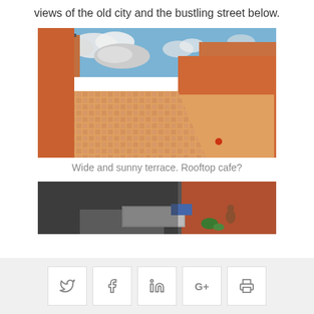views of the old city and the bustling street below.
[Figure (photo): Wide rooftop terrace with orange/terracotta walls and patterned tile floor under a blue sky with clouds]
Wide and sunny terrace. Rooftop cafe?
[Figure (photo): Narrow alley or passage viewed from above with dark stones and a small structure visible below]
Social share buttons: Twitter, Facebook, LinkedIn, Google+, Print